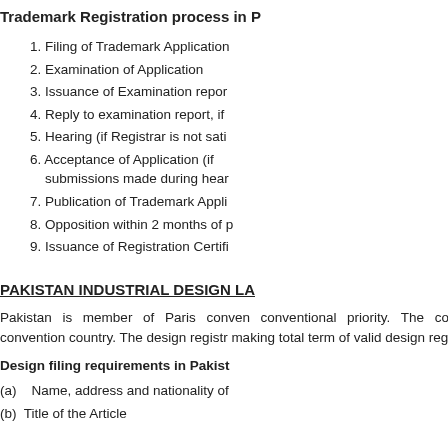Trademark Registration process in P
1. Filing of Trademark Application
2. Examination of Application
3. Issuance of Examination repor
4. Reply to examination report, if
5. Hearing (if Registrar is not sati
6. Acceptance of Application (if submissions made during hear
7. Publication of Trademark Appli
8. Opposition within 2 months of p
9. Issuance of Registration Certifi
PAKISTAN INDUSTRIAL DESIGN LA
Pakistan is member of Paris conven conventional priority. The convention convention country. The design registr making total term of valid design regist
Design filing requirements in Pakist
(a)   Name, address and nationality of
(b)  Title of the Article